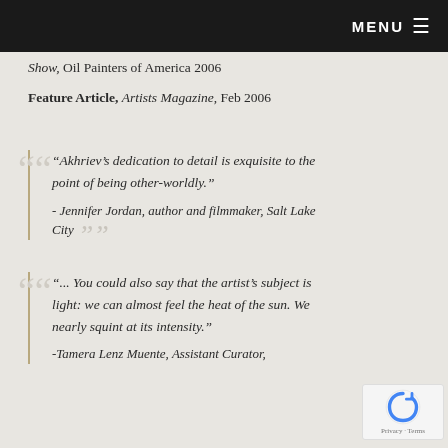Best Still Life and Second Place Overall, National Show, Oil Painters of America 2006 | MENU
Show, Oil Painters of America 2006
Feature Article, Artists Magazine, Feb 2006
"Akhriev's dedication to detail is exquisite to the point of being other-worldly." - Jennifer Jordan, author and filmmaker, Salt Lake City
"... You could also say that the artist's subject is light: we can almost feel the heat of the sun. We nearly squint at its intensity." -Tamera Lenz Muente, Assistant Curator,